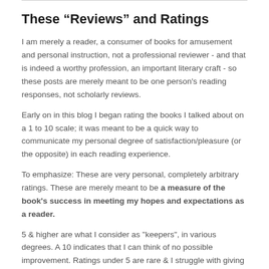These “Reviews” and Ratings
I am merely a reader, a consumer of books for amusement and personal instruction, not a professional reviewer - and that is indeed a worthy profession, an important literary craft - so these posts are merely meant to be one person's reading responses, not scholarly reviews.
Early on in this blog I began rating the books I talked about on a 1 to 10 scale; it was meant to be a quick way to communicate my personal degree of satisfaction/pleasure (or the opposite) in each reading experience.
To emphasize: These are very personal, completely arbitrary ratings. These are merely meant to be a measure of the book's success in meeting my hopes and expectations as a reader.
5 & higher are what I consider as "keepers", in various degrees. A 10 indicates that I can think of no possible improvement. Ratings under 5 are rare & I struggle with giving those, but in all honesty sometimes feel them appropriate for, again, undeniably arbitrary and very personal